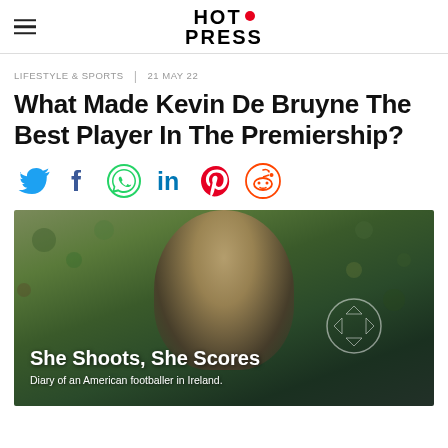HOT PRESS
LIFESTYLE & SPORTS  |  21 MAY 22
What Made Kevin De Bruyne The Best Player In The Premiership?
[Figure (other): Social sharing icons: Twitter (blue bird), Facebook (blue f), WhatsApp (green phone), LinkedIn (blue in), Pinterest (red P), Reddit (alien)]
[Figure (photo): Photo of a blonde woman smiling, wearing a dark jacket, standing in front of a colorful mosaic wall. Overlay text reads 'She Shoots, She Scores — Diary of an American footballer in Ireland.' with a soccer ball graphic.]